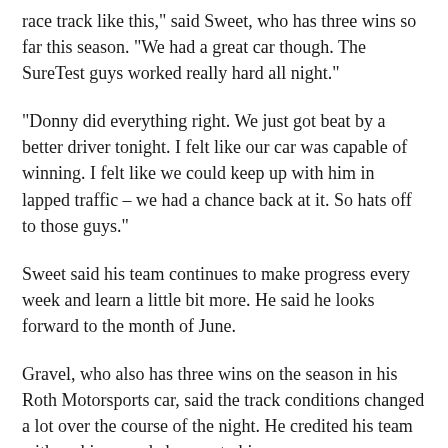race track like this," said Sweet, who has three wins so far this season. "We had a great car though. The SureTest guys worked really hard all night."
"Donny did everything right. We just got beat by a better driver tonight. I felt like our car was capable of winning. I felt like we could keep up with him in lapped traffic – we had a chance back at it. So hats off to those guys."
Sweet said his team continues to make progress every week and learn a little bit more. He said he looks forward to the month of June.
Gravel, who also has three wins on the season in his Roth Motorsports car, said the track conditions changed a lot over the course of the night. He credited his team with making good changes to his car.
"I'm glad we made the right adjustments. I had a really good